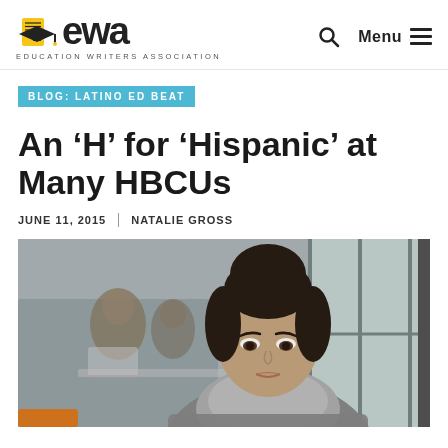ewa EDUCATION WRITERS ASSOCIATION | Menu
BLOG: LATINO ED BEAT
An ‘H’ for ‘Hispanic’ at Many HBCUs
JUNE 11, 2015 | NATALIE GROSS
[Figure (photo): A young woman with dark hair in a bun, wearing a grey scarf and sweater, studying or writing at a desk. Other students visible in the blurred background near large windows.]